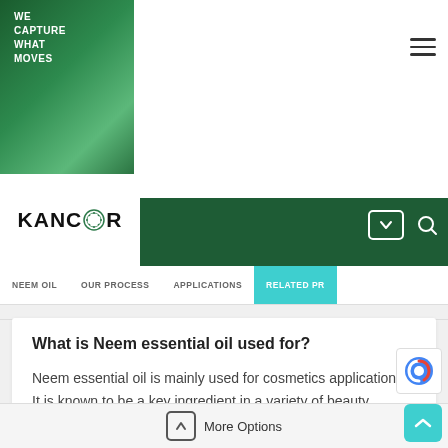[Figure (logo): Green gradient banner with 'WE CAPTURE WHAT MOVES' text and MANE logo at bottom]
[Figure (logo): Kancor logo with decorative circle icon between KANC and R on white background]
NEEM OIL | OUR PROCESS | APPLICATIONS | RELATED PR
What is Neem essential oil used for?
Neem essential oil is mainly used for cosmetics applications. It is known to be a key ingredient in a variety of beauty products like skin creams, lotions etc.
More Options